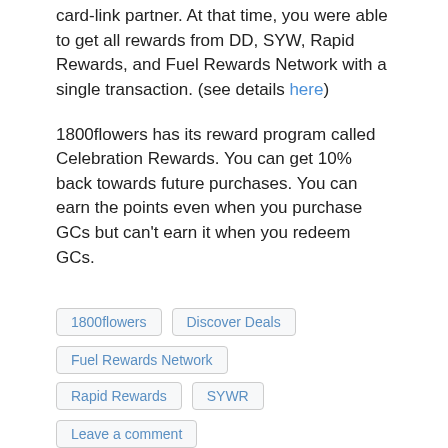card-link partner. At that time, you were able to get all rewards from DD, SYW, Rapid Rewards, and Fuel Rewards Network with a single transaction. (see details here)
1800flowers has its reward program called Celebration Rewards. You can get 10% back towards future purchases. You can earn the points even when you purchase GCs but can't earn it when you redeem GCs.
1800flowers
Discover Deals
Fuel Rewards Network
Rapid Rewards
SYWR
Leave a comment
Use Sears Credit Card and Gift Card for in-store